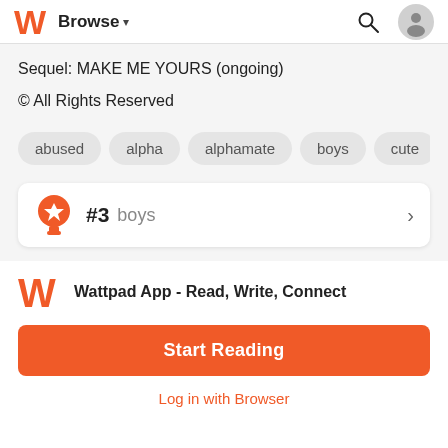Browse
Sequel: MAKE ME YOURS (ongoing)
© All Rights Reserved
abused
alpha
alphamate
boys
cute
da
#3 boys
Wattpad App - Read, Write, Connect
Start Reading
Log in with Browser